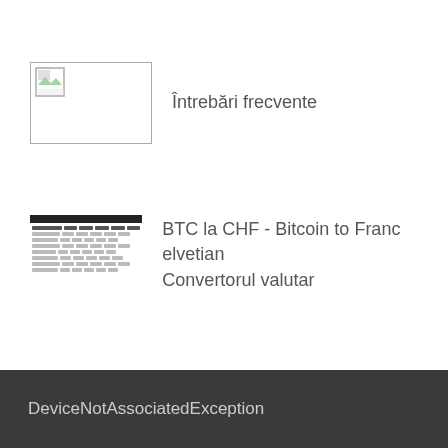[Figure (screenshot): Broken image thumbnail placeholder with small icon]
Întrebări frecvente
[Figure (screenshot): Screenshot thumbnail of BTC to CHF currency converter table page]
BTC la CHF - Bitcoin to Franc elvetian Convertorul valutar
DeviceNotAssociatedException